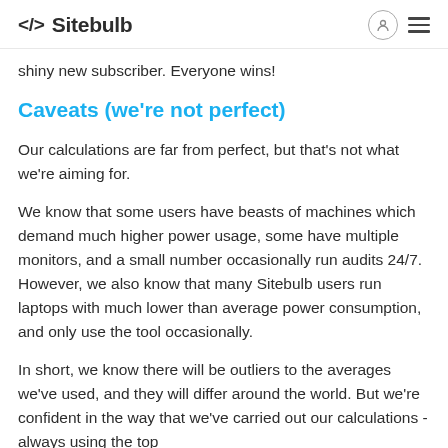Sitebulb
shiny new subscriber. Everyone wins!
Caveats (we're not perfect)
Our calculations are far from perfect, but that's not what we're aiming for.
We know that some users have beasts of machines which demand much higher power usage, some have multiple monitors, and a small number occasionally run audits 24/7. However, we also know that many Sitebulb users run laptops with much lower than average power consumption, and only use the tool occasionally.
In short, we know there will be outliers to the averages we've used, and they will differ around the world. But we're confident in the way that we've carried out our calculations - always using the top